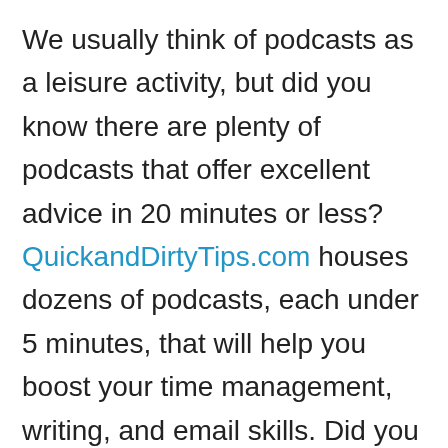We usually think of podcasts as a leisure activity, but did you know there are plenty of podcasts that offer excellent advice in 20 minutes or less? QuickandDirtyTips.com houses dozens of podcasts, each under 5 minutes, that will help you boost your time management, writing, and email skills. Did you know InterAction Training has its own monthly talk show that features industry experts on customer service, HR, cybersecurity, and training? Listen to Training Matters now and be sure to subscribe so you never miss an episode.